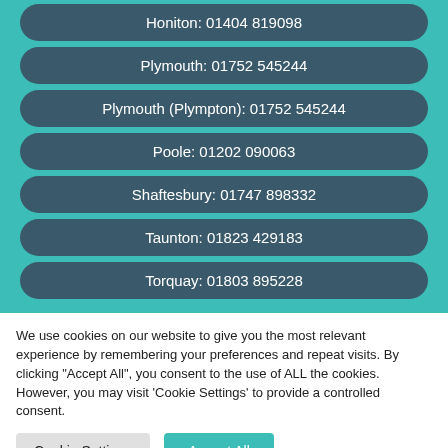Honiton: 01404 819098
Plymouth: 01752 545244
Plymouth (Plympton): 01752 545244
Poole: 01202 090063
Shaftesbury: 01747 898332
Taunton: 01823 429183
Torquay: 01803 895228
We use cookies on our website to give you the most relevant experience by remembering your preferences and repeat visits. By clicking "Accept All", you consent to the use of ALL the cookies. However, you may visit 'Cookie Settings' to provide a controlled consent.
Cookie Settings
Accept All